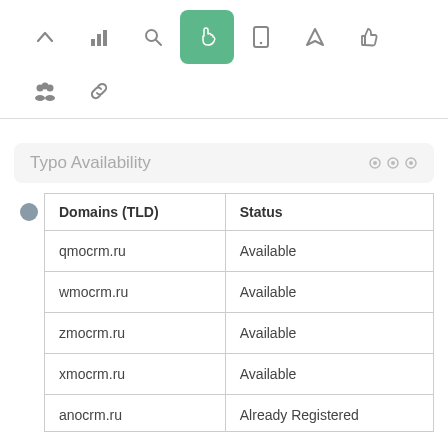[Figure (screenshot): Top navigation toolbar with icons: up-arrow, bar-chart, search/magnifier, hand/touch (active, green background), phone, send/navigation, thumbs-up]
[Figure (screenshot): Second toolbar row with people/group icon and chain-link icon]
Typo Availability
| Domains (TLD) | Status |
| --- | --- |
| qmocrm.ru | Available |
| wmocrm.ru | Available |
| zmocrm.ru | Available |
| xmocrm.ru | Available |
| anocrm.ru | Already Registered |